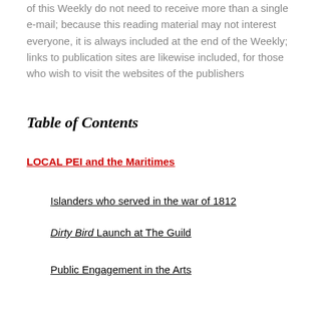of this Weekly do not need to receive more than a single e-mail; because this reading material may not interest everyone, it is always included at the end of the Weekly; links to publication sites are likewise included, for those who wish to visit the websites of the publishers
Table of Contents
LOCAL PEI and the Maritimes
Islanders who served in the war of 1812
Dirty Bird Launch at The Guild
Public Engagement in the Arts